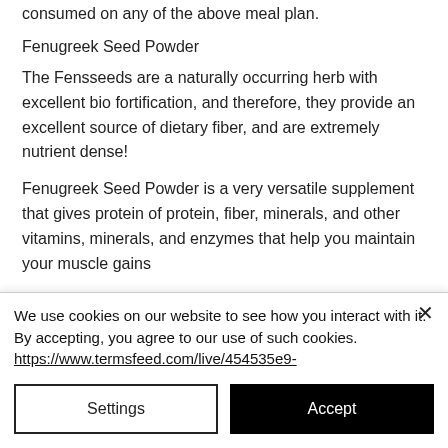consumed on any of the above meal plan.
Fenugreek Seed Powder
The Fensseeds are a naturally occurring herb with excellent bio fortification, and therefore, they provide an excellent source of dietary fiber, and are extremely nutrient dense!
Fenugreek Seed Powder is a very versatile supplement that gives protein of protein, fiber, minerals, and other vitamins, minerals, and enzymes that help you maintain your muscle gains...
We use cookies on our website to see how you interact with it. By accepting, you agree to our use of such cookies. https://www.termsfeed.com/live/454535e9-
Settings
Accept